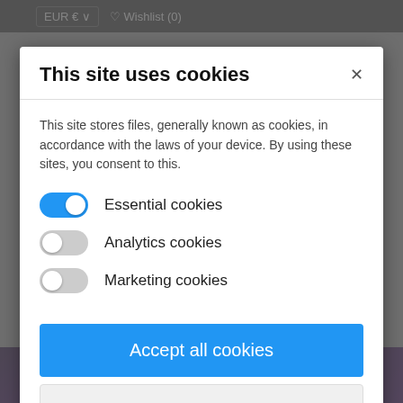EUR € ↓  ♡ Wishlist (0)
This site uses cookies
This site stores files, generally known as cookies, in accordance with the laws of your device. By using these sites, you consent to this.
Essential cookies
Analytics cookies
Marketing cookies
Accept all cookies
Allow only essential cookies
More information
[Figure (photo): Bottom strip showing decorative eye shapes and a clock face on a dark purple background with neon lighting effects]